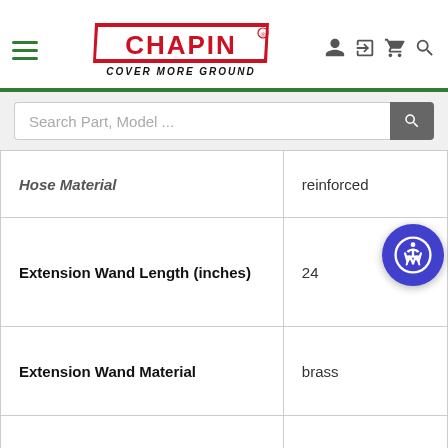Chapin — Cover More Ground
| Attribute | Value |
| --- | --- |
| Hose Material | reinforced |
| Extension Wand Length (inches) | 24 |
| Extension Wand Material | brass |
| Seal Material | chemical-resistant |
| Nozzle | brass fan |